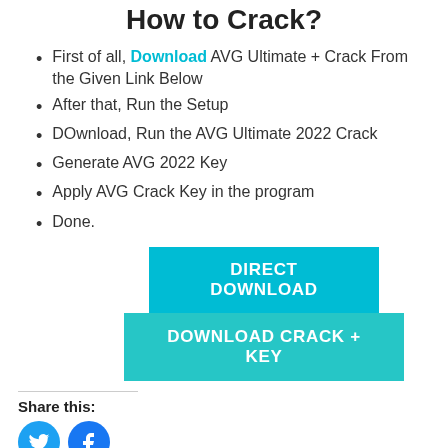How to Crack?
First of all, Download AVG Ultimate + Crack From the Given Link Below
After that, Run the Setup
DOwnload, Run the AVG Ultimate 2022 Crack
Generate AVG 2022 Key
Apply AVG Crack Key in the program
Done.
[Figure (other): Two teal download buttons: DIRECT DOWNLOAD and DOWNLOAD CRACK + KEY]
Share this:
[Figure (other): Social sharing icons: Twitter (circle), Facebook (circle)]
[Figure (other): Social sharing buttons: Facebook, Twitter, Email, Share (square rounded icons)]